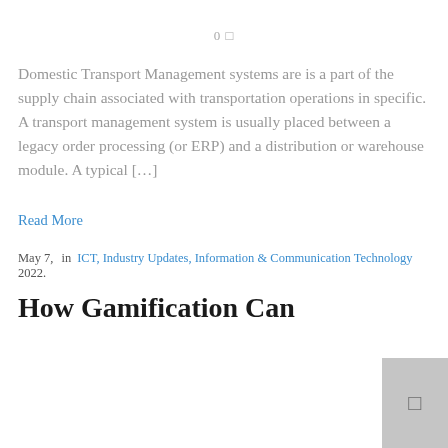0 □
Domestic Transport Management systems are is a part of the supply chain associated with transportation operations in specific. A transport management system is usually placed between a legacy order processing (or ERP) and a distribution or warehouse module. A typical […]
Read More
May 7, 2022. in ICT, Industry Updates, Information & Communication Technology
How Gamification Can